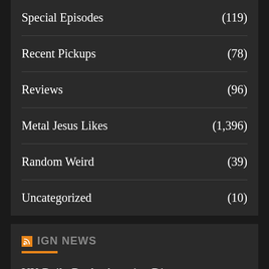Special Episodes (119)
Recent Pickups (78)
Reviews (96)
Metal Jesus Likes (1,396)
Random Weird (39)
Uncategorized (10)
IGN NEWS
UK Daily Deals: Amazing Discount on TMNT: The Cowabunga Collection